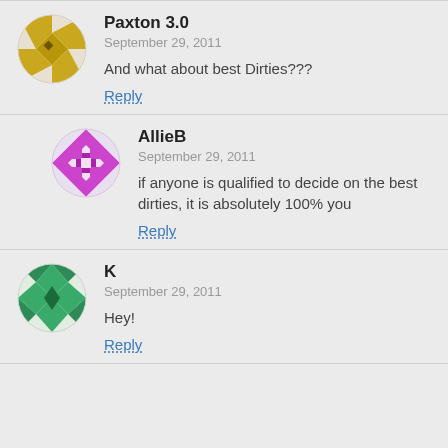[Figure (illustration): Avatar icon for Paxton 3.0 - brown/tan geometric quilt-like pattern in a circle]
Paxton 3.0
September 29, 2011
And what about best Dirties???
Reply
[Figure (illustration): Avatar icon for AllieB - purple/magenta geometric quilt-like pattern in a circle]
AllieB
September 29, 2011
if anyone is qualified to decide on the best dirties, it is absolutely 100% you
Reply
[Figure (illustration): Avatar icon for K - green geometric quilt-like pattern in a circle]
K
September 29, 2011
Hey!
Reply